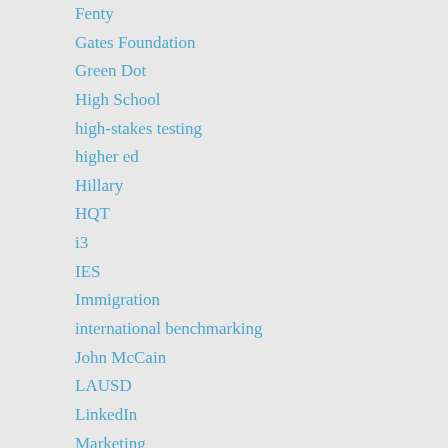Fenty
Gates Foundation
Green Dot
High School
high-stakes testing
higher ed
Hillary
HQT
i3
IES
Immigration
international benchmarking
John McCain
LAUSD
LinkedIn
Marketing
Math
Media
Michelle Rhee
NAEP
NASSP